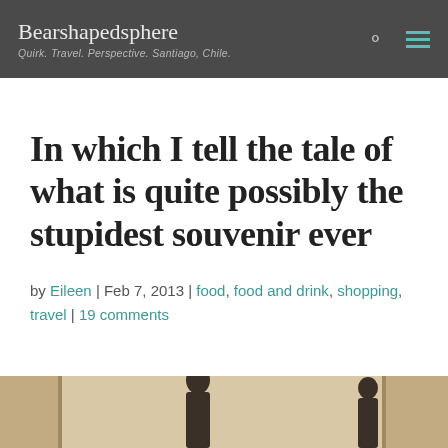Bearshapedsphere — Quirk. Travel. Perspective. Santiago, Chile.
In which I tell the tale of what is quite possibly the stupidest souvenir ever
by Eileen | Feb 7, 2013 | food, food and drink, shopping, travel | 19 comments
[Figure (photo): Bottom portion of a photograph showing two people, partially visible at the bottom of the page]